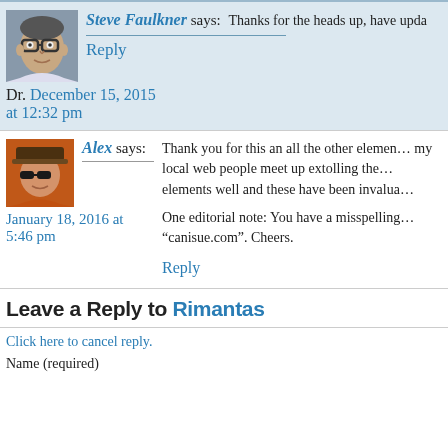Steve Faulkner says: Thanks for the heads up, have upda
Reply
Dr. December 15, 2015 at 12:32 pm
Alex says: Thank you for this an all the other elements, my local web people meet up extolling the elements well and these have been invaluable.
One editorial note: You have a misspelling: “canisue.com”. Cheers.
Reply
January 18, 2016 at 5:46 pm
Leave a Reply to Rimantas
Click here to cancel reply.
Name (required)